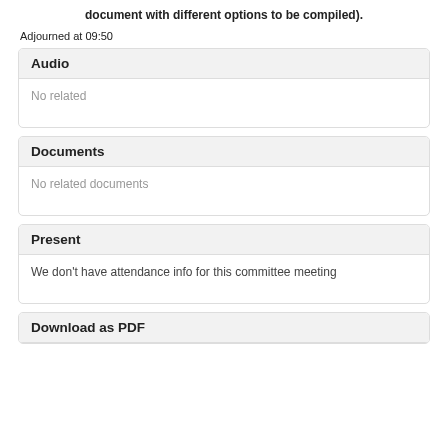document with different options to be compiled).
Adjourned at 09:50
Audio
No related
Documents
No related documents
Present
We don't have attendance info for this committee meeting
Download as PDF